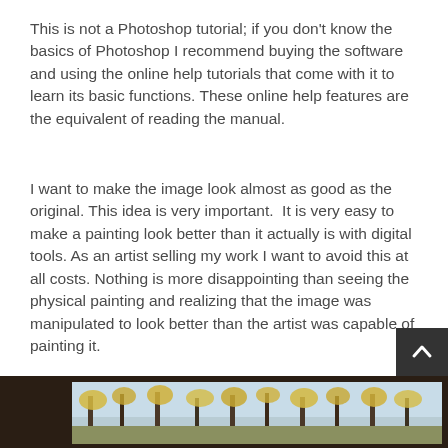This is not a Photoshop tutorial; if you don't know the basics of Photoshop I recommend buying the software and using the online help tutorials that come with it to learn its basic functions. These online help features are the equivalent of reading the manual.
I want to make the image look almost as good as the original. This idea is very important. It is very easy to make a painting look better than it actually is with digital tools. As an artist selling my work I want to avoid this at all costs. Nothing is more disappointing than seeing the physical painting and realizing that the image was manipulated to look better than the artist was capable of painting it.
I am currently using Photoshop CS5 on a workstation PC. If you have an apple computer I feel sorry for you and this article is not for you.
[Figure (photo): Partial view of a painting showing trees with yellow and green foliage against a light blue/grey background, framed in dark brown wood.]